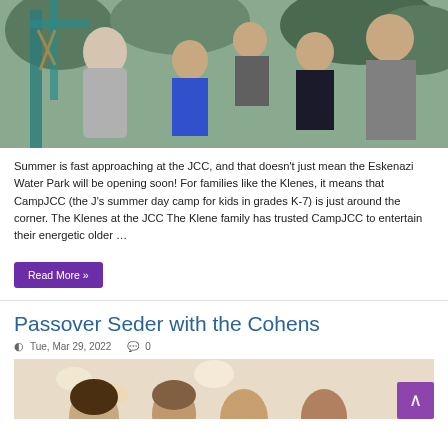[Figure (photo): Family photo of the Klene family at the JCC playground — a woman, three boys, and a man posing together outdoors near playground equipment.]
Summer is fast approaching at the JCC, and that doesn't just mean the Eskenazi Water Park will be opening soon! For families like the Klenes, it means that CampJCC (the J's summer day camp for kids in grades K-7) is just around the corner. The Klenes at the JCC The Klene family has trusted CampJCC to entertain their energetic older …
Read More »
Passover Seder with the Cohens
Tue, Mar 29, 2022   0
[Figure (photo): Partial photo of people at a Passover Seder table.]